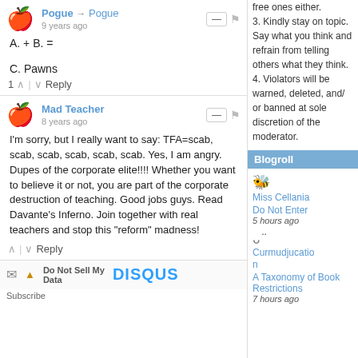Pogue → Pogue
9 years ago
A. + B. =

C. Pawns
1 ∧ | ∨ Reply
Mad Teacher
8 years ago
I'm sorry, but I really want to say: TFA=scab, scab, scab, scab, scab, scab. Yes, I am angry. Dupes of the corporate elite!!!! Whether you want to believe it or not, you are part of the corporate destruction of teaching. Good jobs guys. Read Davante's Inferno. Join together with real teachers and stop this "reform" madness!
∧ | ∨ Reply
✉ ▲ Do Not Sell My Data    DISQUS
Subscribe
free ones either.
3. Kindly stay on topic. Say what you think and refrain from telling others what they think.
4. Violators will be warned, deleted, and/ or banned at sole discretion of the moderator.
Blogroll
Miss Cellania
Do Not Enter
5 hours ago
Curmudjucation
A Taxonomy of Book Restrictions
7 hours ago